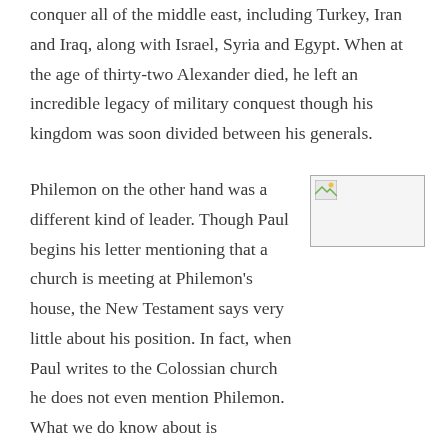conquer all of the middle east, including Turkey, Iran and Iraq, along with Israel, Syria and Egypt. When at the age of thirty-two Alexander died, he left an incredible legacy of military conquest though his kingdom was soon divided between his generals.
Philemon on the other hand was a different kind of leader. Though Paul begins his letter mentioning that a church is meeting at Philemon's house, the New Testament says very little about his position. In fact, when Paul writes to the Colossian church he does not even mention Philemon. What we do know about is Philemon's love. Paul begins his
[Figure (photo): A small broken/placeholder image icon in the top-left corner of a bordered image box]
Photo by Miggy Rivera on Pexels.com